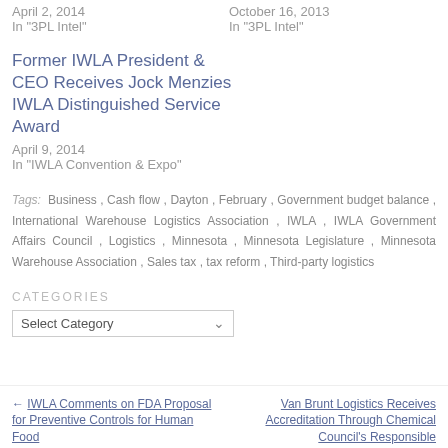Warehouse Sales Tax / April 2, 2014 / In "3PL Intel"
Damage State Economies / October 16, 2013 / In "3PL Intel"
Former IWLA President & CEO Receives Jock Menzies IWLA Distinguished Service Award
April 9, 2014
In "IWLA Convention & Expo"
Tags: Business, Cash flow, Dayton, February, Government budget balance, International Warehouse Logistics Association, IWLA, IWLA Government Affairs Council, Logistics, Minnesota, Minnesota Legislature, Minnesota Warehouse Association, Sales tax, tax reform, Third-party logistics
CATEGORIES
Select Category
← IWLA Comments on FDA Proposal for Preventive Controls for Human Food
Van Brunt Logistics Receives Accreditation Through Chemical Council's Responsible